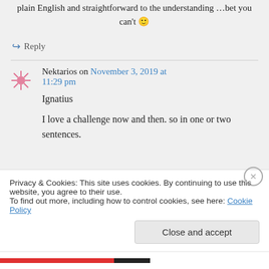plain English and straightforward to the understanding …bet you can't 🙂
↪ Reply
Nektarios on November 3, 2019 at 11:29 pm
Ignatius
I love a challenge now and then. so in one or two sentences.
Privacy & Cookies: This site uses cookies. By continuing to use this website, you agree to their use.
To find out more, including how to control cookies, see here: Cookie Policy
Close and accept